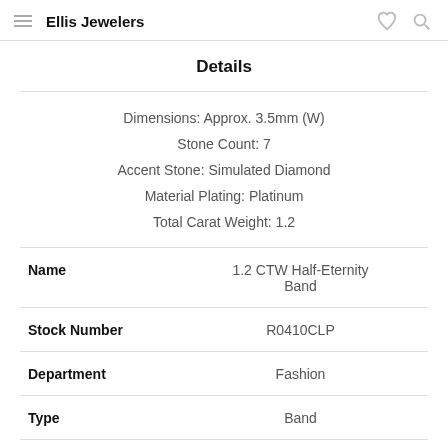Ellis Jewelers
Details
Dimensions: Approx. 3.5mm (W)
Stone Count: 7
Accent Stone: Simulated Diamond
Material Plating: Platinum
Total Carat Weight: 1.2
| Field | Value |
| --- | --- |
| Name | 1.2 CTW Half-Eternity Band |
| Stock Number | R0410CLP |
| Department | Fashion |
| Type | Band |